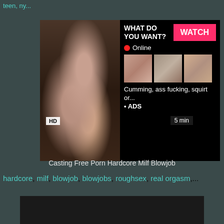teen, ..., ny...
[Figure (screenshot): Adult video website screenshot showing a video thumbnail with an advertisement overlay. The ad panel shows 'WHAT DO YOU WANT?' text with a pink WATCH button, Online status indicator, three small thumbnail images, and text 'Cumming, ass fucking, squirt or... • ADS'. The main thumbnail shows a person. HD badge and 5 min duration label visible.]
Casting Free Porn Hardcore Milf Blowjob
hardcore, milf, blowjob, blowjobs, roughsex, real orgasm,...
[Figure (screenshot): Dark video thumbnail for second video]